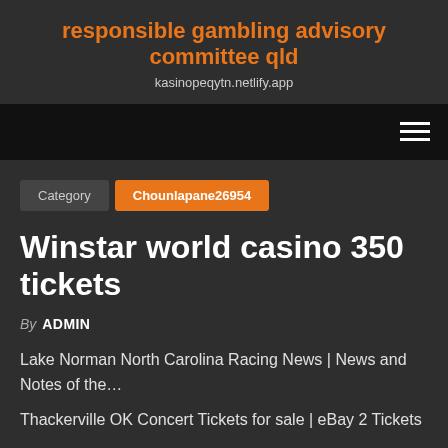responsible gambling advisory committee qld
kasinopeqytn.netlify.app
[Figure (other): Navigation bar with hamburger menu icon (three horizontal white lines) on black background]
Category   Chounlapane26954
Winstar world casino 350 tickets
By ADMIN
Lake Norman North Carolina Racing News | News and Notes of the…
Thackerville OK Concert Tickets for sale | eBay 2 Tickets